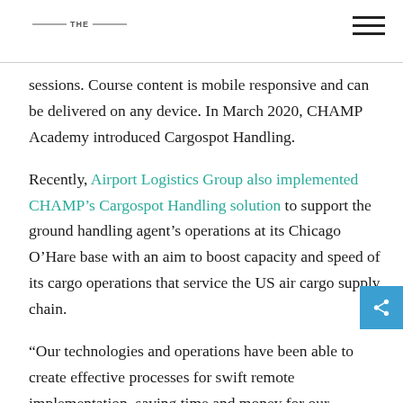THE
sessions. Course content is mobile responsive and can be delivered on any device. In March 2020, CHAMP Academy introduced Cargospot Handling.
Recently, Airport Logistics Group also implemented CHAMP’s Cargospot Handling solution to support the ground handling agent’s operations at its Chicago O’Hare base with an aim to boost capacity and speed of its cargo operations that service the US air cargo supply chain.
“Our technologies and operations have been able to create effective processes for swift remote implementation, saving time and money for our